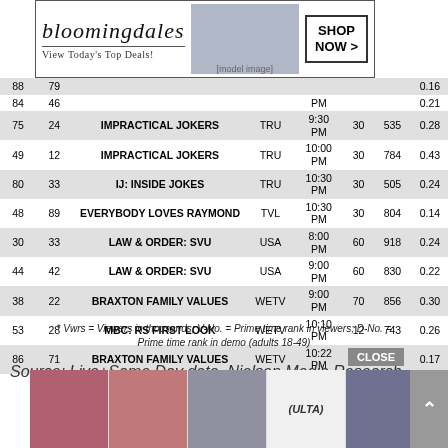| V-No. | D-No. | Show | Net | Time | Mins | Vwrs | Rating |
| --- | --- | --- | --- | --- | --- | --- | --- |
| 88 | 79 |  |  |  |  |  | 0.16 |
| 84 | 46 |  |  | PM |  |  | 0.21 |
| 75 | 24 | IMPRACTICAL JOKERS | TRU | 9:30 PM | 30 | 535 | 0.28 |
| 49 | 12 | IMPRACTICAL JOKERS | TRU | 10:00 PM | 30 | 784 | 0.43 |
| 80 | 33 | IJ: INSIDE JOKES | TRU | 10:30 PM | 30 | 505 | 0.24 |
| 48 | 89 | EVERYBODY LOVES RAYMOND | TVL | 10:30 PM | 30 | 804 | 0.14 |
| 30 | 33 | LAW & ORDER: SVU | USA | 8:00 PM | 60 | 918 | 0.24 |
| 44 | 42 | LAW & ORDER: SVU | USA | 9:00 PM | 60 | 830 | 0.22 |
| 38 | 22 | BRAXTON FAMILY VALUES | WETV | 9:00 PM | 70 | 856 | 0.30 |
| 53 | 28 | MBC: RS FIRST LOOK | WETV | 10:10 PM | 12 | 743 | 0.26 |
| 86 | 71 | BRAXTON FAMILY VALUES | WETV | 10:22 PM | 73 | 394 | 0.17 |
* Vwrs = Viewers in thousands; V-No. = Prime time rank in viewers; D-No. = Prime time rank in demo (adults 18-49)
Source: Live+Same Day data, Nielsen Media Research
[Figure (other): Bloomingdale's advertisement banner - View Today's Top Deals with SHOP NOW button and model image]
[Figure (other): Ulta Beauty advertisement banner with SHOP NOW button and CLOSE button, showing cosmetics images]